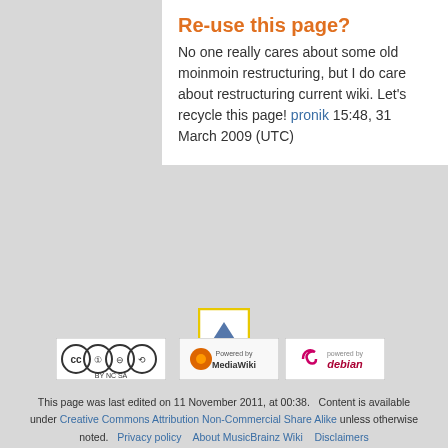Re-use this page?
No one really cares about some old moinmoin restructuring, but I do care about restructuring current wiki. Let's recycle this page! pronik 15:48, 31 March 2009 (UTC)
[Figure (other): Scroll-to-top button icon with yellow border and blue triangle arrow]
[Figure (logo): Creative Commons BY-NC-SA license badge]
[Figure (logo): Powered by MediaWiki badge]
[Figure (logo): Powered by Debian badge]
This page was last edited on 11 November 2011, at 00:38. Content is available under Creative Commons Attribution Non-Commercial Share Alike unless otherwise noted. Privacy policy About MusicBrainz Wiki Disclaimers